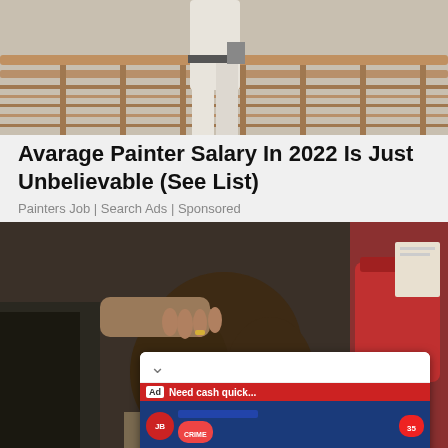[Figure (photo): Top portion of a painter in white clothes on stairs with wooden railing]
Avarage Painter Salary In 2022 Is Just Unbelievable (See List)
Painters Job | Search Ads | Sponsored
[Figure (photo): Person with brown hair being comforted, someone placing hand on their head/neck, red bag visible in background]
[Figure (screenshot): BitLife - Life Simulator app advertisement with game screenshot showing crime options and app icon]